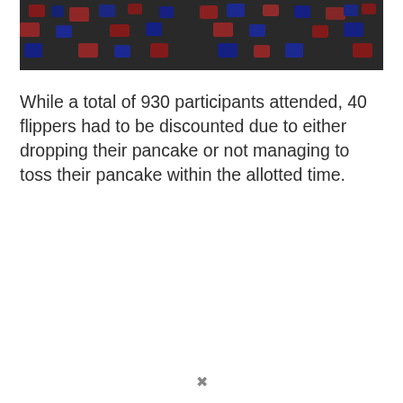[Figure (photo): A large crowd of people gathered together, many wearing red and blue clothing, photographed from above.]
While a total of 930 participants attended, 40 flippers had to be discounted due to either dropping their pancake or not managing to toss their pancake within the allotted time.